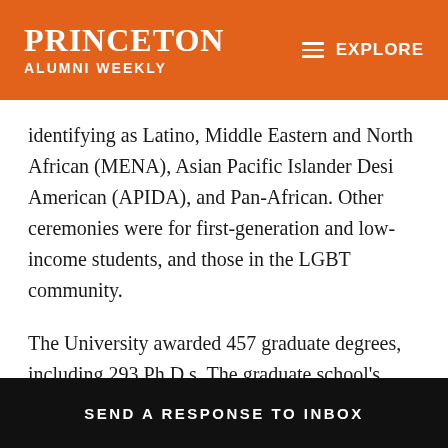PRINCETON ALUMNI WEEKLY
identifying as Latino, Middle Eastern and North African (MENA), Asian Pacific Islander Desi American (APIDA), and Pan-African. Other ceremonies were for first-generation and low-income students, and those in the LGBT community.
The University awarded 457 graduate degrees, including 293 Ph.D.s. The graduate school's virtual Hooding Ceremony was held May 24. Cole Crittenden *05, deputy dean and acting dean of the graduate school, congratulated the advanced-degree recipients and
SEND A RESPONSE TO INBOX